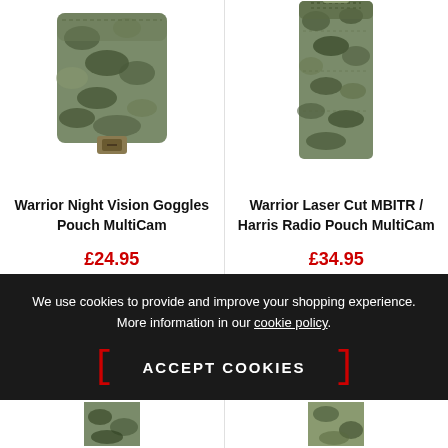[Figure (photo): Warrior Night Vision Goggles Pouch in MultiCam camouflage pattern, shown from front, with MOLLE attachment]
[Figure (photo): Warrior Laser Cut MBITR / Harris Radio Pouch in MultiCam camouflage pattern, tall narrow profile with MOLLE attachment at top]
Warrior Night Vision Goggles Pouch MultiCam
Warrior Laser Cut MBITR / Harris Radio Pouch MultiCam
£24.95
RRP £28.05
£34.95
RRP £39.95
We use cookies to provide and improve your shopping experience. More information in our cookie policy.
ACCEPT COOKIES